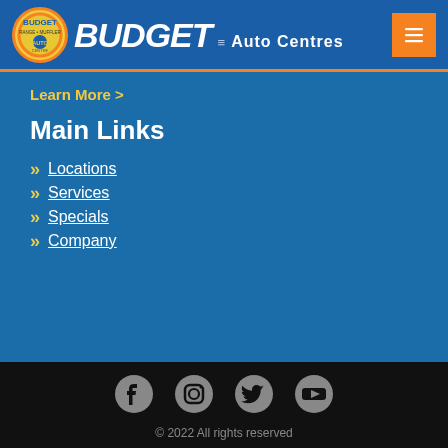BUDGET Auto Centres
Learn More >
Main Links
Locations
Services
Specials
Company
© 2022 All rights reserved